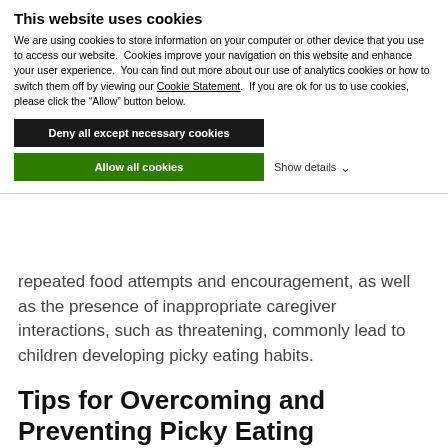This website uses cookies
We are using cookies to store information on your computer or other device that you use to access our website.  Cookies improve your navigation on this website and enhance your user experience.  You can find out more about our use of analytics cookies or how to switch them off by viewing our Cookie Statement.  If you are ok for us to use cookies, please click the “Allow” button below.
Deny all except necessary cookies
Allow all cookies
Show details
repeated food attempts and encouragement, as well as the presence of inappropriate caregiver interactions, such as threatening, commonly lead to children developing picky eating habits.
Tips for Overcoming and Preventing Picky Eating